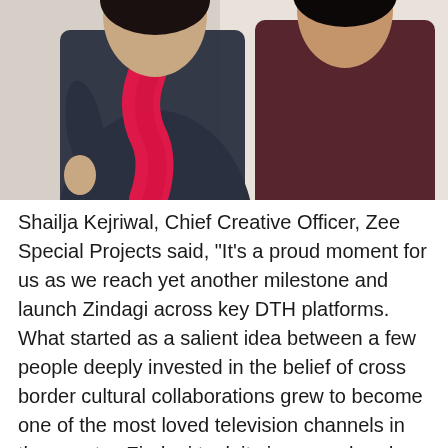[Figure (photo): Photo of two people, one wearing a dark shirt with a bright pink/red scarf or stole, the other in a dark maroon outfit. The background is a neutral beige/cream color.]
Shailja Kejriwal, Chief Creative Officer, Zee Special Projects said, "It's a proud moment for us as we reach yet another milestone and launch Zindagi across key DTH platforms. What started as a salient idea between a few people deeply invested in the belief of cross border cultural collaborations grew to become one of the most loved television channels in the country. Zindagi took its journey ahead on OTT fueling the digital consumption needs in the country, and the community of believers continued to grow. Today, we add new partners, new believers in Tata Play, Dish TV and D2H, as we take Zindagi to every corner of the country."